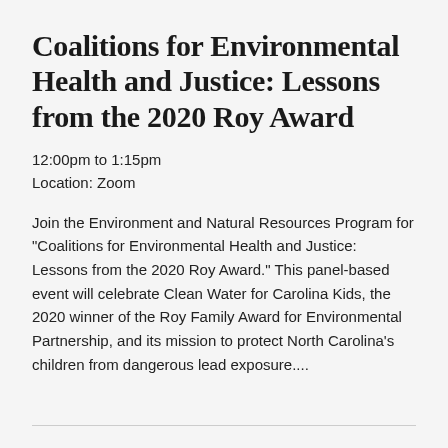Coalitions for Environmental Health and Justice: Lessons from the 2020 Roy Award
12:00pm to 1:15pm
Location: Zoom
Join the Environment and Natural Resources Program for "Coalitions for Environmental Health and Justice: Lessons from the 2020 Roy Award." This panel-based event will celebrate Clean Water for Carolina Kids, the 2020 winner of the Roy Family Award for Environmental Partnership, and its mission to protect North Carolina's children from dangerous lead exposure....